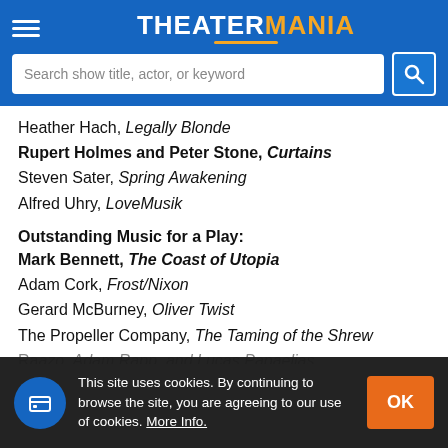TheaterMania
Search show title, actor, or keyword
Heather Hach, Legally Blonde
Rupert Holmes and Peter Stone, Curtains
Steven Sater, Spring Awakening
Alfred Uhry, LoveMusik
Outstanding Music for a Play:
Mark Bennett, The Coast of Utopia
Adam Cork, Frost/Nixon
Gerard McBurney, Oliver Twist
The Propeller Company, The Taming of the Shrew
Ra... azo, Adam Rapp, and Lucas Papaelias,
This site uses cookies. By continuing to browse the site, you are agreeing to our use of cookies. More Info.
D... ...ith Flegner, Gone with the Wind